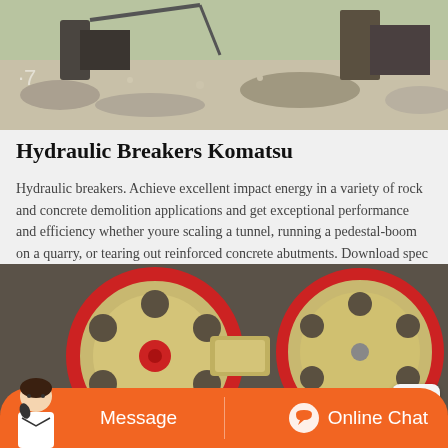[Figure (photo): Aerial view of a rock crushing or demolition site with heavy machinery and broken stone/concrete debris]
Hydraulic Breakers Komatsu
Hydraulic breakers. Achieve excellent impact energy in a variety of rock and concrete demolition applications and get exceptional performance and efficiency whether youre scaling a tunnel, running a pedestal-boom on a quarry, or tearing out reinforced concrete abutments. Download spec sheet Find a dealer.
[Figure (photo): Close-up view of large industrial mechanical pulleys or flywheels with red and beige coloring in a factory setting]
Message
Online Chat